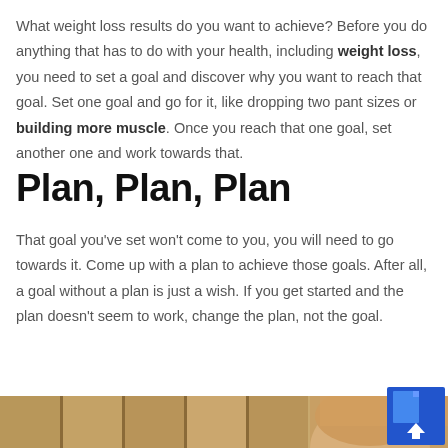What weight loss results do you want to achieve? Before you do anything that has to do with your health, including weight loss, you need to set a goal and discover why you want to reach that goal. Set one goal and go for it, like dropping two pant sizes or building more muscle. Once you reach that one goal, set another one and work towards that.
Plan, Plan, Plan
That goal you've set won't come to you, you will need to go towards it. Come up with a plan to achieve those goals. After all, a goal without a plan is just a wish. If you get started and the plan doesn't seem to work, change the plan, not the goal.
[Figure (photo): Partial photo of a woman, bottom portion of page, with shelving visible]